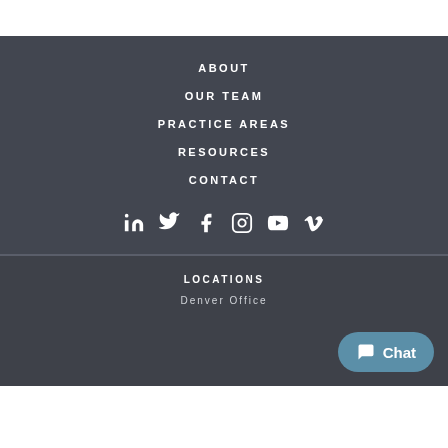ABOUT
OUR TEAM
PRACTICE AREAS
RESOURCES
CONTACT
[Figure (infographic): Row of social media icons: LinkedIn, Twitter, Facebook, Instagram, YouTube, Vimeo]
LOCATIONS
Denver Office
Chat